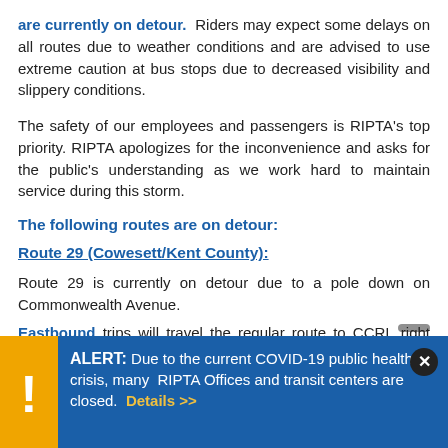are currently on detour. Riders may expect some delays on all routes due to weather conditions and are advised to use extreme caution at bus stops due to decreased visibility and slippery conditions.
The safety of our employees and passengers is RIPTA's top priority. RIPTA apologizes for the inconvenience and asks for the public's understanding as we work hard to maintain service during this storm.
The following routes are on detour:
Route 29 (Cowesett/Kent County):
Route 29 is currently on detour due to a pole down on Commonwealth Avenue.
Eastbound trips will travel the regular route to CCRI, right onto Commonwealth Avenue, left onto College Hill Road, left onto Rte. 2, left onto Toll Gate Road, and then resume regular route.
ALERT: Due to the current COVID-19 public health crisis, many RIPTA Offices and transit centers are closed. Details >>